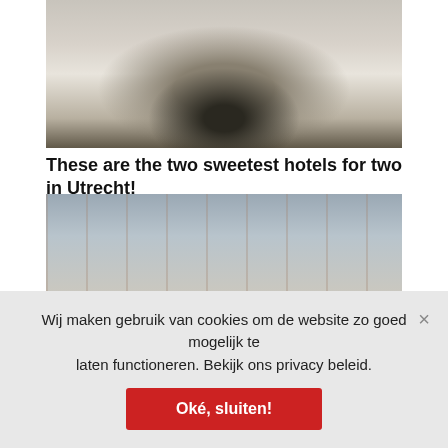[Figure (photo): Two people lying in bed with white sheets and a coffee thermos/carafe between them, seen from above]
These are the two sweetest hotels for two in Utrecht!
[Figure (photo): Blurred street view of gift shops with brick arched facades; overlaid with bold text 'Best gift shops']
Wij maken gebruik van cookies om de website zo goed mogelijk te laten functioneren. Bekijk ons privacy beleid.
Oké, sluiten!